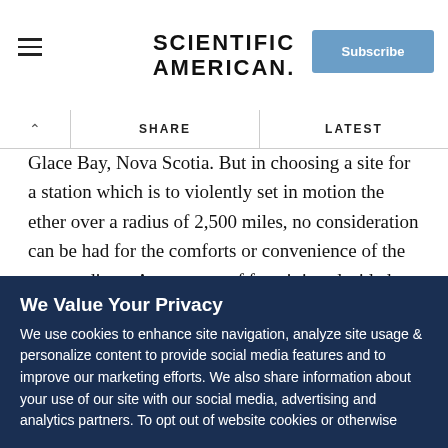SCIENTIFIC AMERICAN
Glace Bay, Nova Scotia. But in choosing a site for a station which is to vio lently set in motion the ether over a radius of 2,500 miles, no consideration can be had for the comforts or convenience of the surroundings. As a matter of fact, it is a decided advantage to place the station as far from town as possible, because buildings, trees, telegraph and telephone poles and wires, all tend to absorb a large part of the power radiated from the antenna. Clifden station's only communication with the outside world, other than that afforded
We Value Your Privacy
We use cookies to enhance site navigation, analyze site usage & personalize content to provide social media features and to improve our marketing efforts. We also share information about your use of our site with our social media, advertising and analytics partners. To opt out of website cookies or otherwise